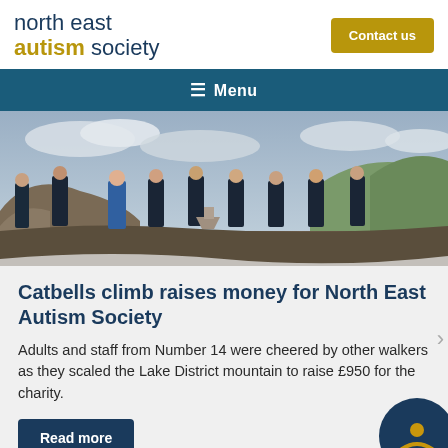north east autism society | Contact us
Menu
[Figure (photo): Group of adults and staff in dark T-shirts standing on a rocky mountain summit (Catbells in the Lake District), posing with hands together on a trig point, with green hills and cloudy sky in the background.]
Catbells climb raises money for North East Autism Society
Adults and staff from Number 14 were cheered by other walkers as they scaled the Lake District mountain to raise £950 for the charity.
Read more